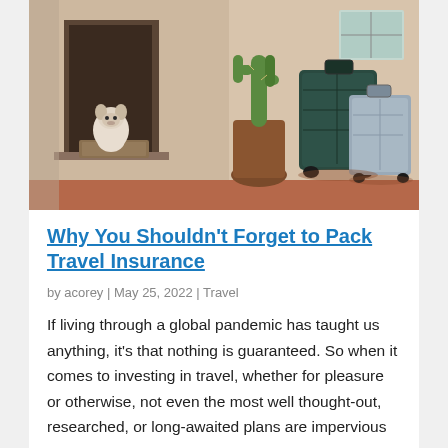[Figure (photo): A dog sitting in a doorway of a house, with a potted cactus and two suitcases (one dark green, one silver) outside on a terracotta patio]
Why You Shouldn't Forget to Pack Travel Insurance
by acorey | May 25, 2022 | Travel
If living through a global pandemic has taught us anything, it's that nothing is guaranteed. So when it comes to investing in travel, whether for pleasure or otherwise, not even the most well thought-out, researched, or long-awaited plans are impervious to